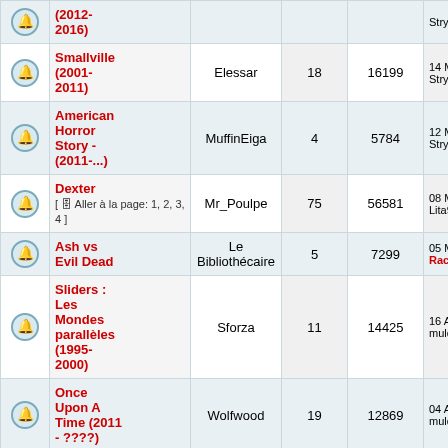|  | Titre | Auteur | Rép. | Vues | Dernier message |
| --- | --- | --- | --- | --- | --- |
| 🔔 | (2012-2016) |  |  |  | Stryke... |
| 🔔 | Smallville (2001-2011) | Elessar | 18 | 16199 | 14 Mai 20 Stryke |
| 🔔 | American Horror Story - (2011-...) | MuffinEiga | 4 | 5784 | 12 Mai 20 Stryke |
| 🔔 | Dexter [ Aller à la page: 1, 2, 3, 4 ] | Mr_Poulpe | 75 | 56581 | 08 Mai 20 Lita91... |
| 🔔 | Ash vs Evil Dead | Le Bibliothécaire | 5 | 7299 | 05 Mai 20 Raccoo... |
| 🔔 | Sliders : Les Mondes parallèles (1995-2000) | Sforza | 11 | 14425 | 16 Avr 20 mulder2... |
| 🔔 | Once Upon A Time (2011 - ????) | Wolfwood | 19 | 12869 | 04 Avr 20 mulder2... |
| 🔔 | Falling Skies - 2011 - 2015 | Dr. Phibes | 7 | 10154 | 14 Mars 20 Stryke... |